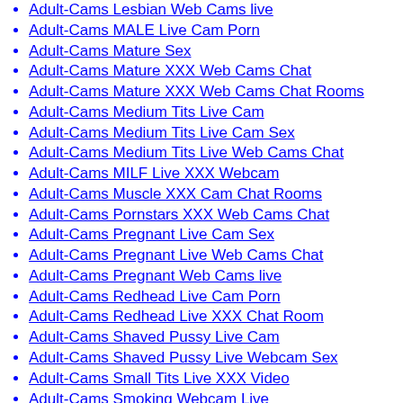Adult-Cams Lesbian Web Cams live
Adult-Cams MALE Live Cam Porn
Adult-Cams Mature Sex
Adult-Cams Mature XXX Web Cams Chat
Adult-Cams Mature XXX Web Cams Chat Rooms
Adult-Cams Medium Tits Live Cam
Adult-Cams Medium Tits Live Cam Sex
Adult-Cams Medium Tits Live Web Cams Chat
Adult-Cams MILF Live XXX Webcam
Adult-Cams Muscle XXX Cam Chat Rooms
Adult-Cams Pornstars XXX Web Cams Chat
Adult-Cams Pregnant Live Cam Sex
Adult-Cams Pregnant Live Web Cams Chat
Adult-Cams Pregnant Web Cams live
Adult-Cams Redhead Live Cam Porn
Adult-Cams Redhead Live XXX Chat Room
Adult-Cams Shaved Pussy Live Cam
Adult-Cams Shaved Pussy Live Webcam Sex
Adult-Cams Small Tits Live XXX Video
Adult-Cams Smoking Webcam Live
Adult-Cams Smoking XXX Cams Chat Rooms
Adult-Cams Squirt Live Webcam Sex
Adult-Cams Squirt Live XXX Chat Room
Adult-Cams Squirt XXX Cams Chat